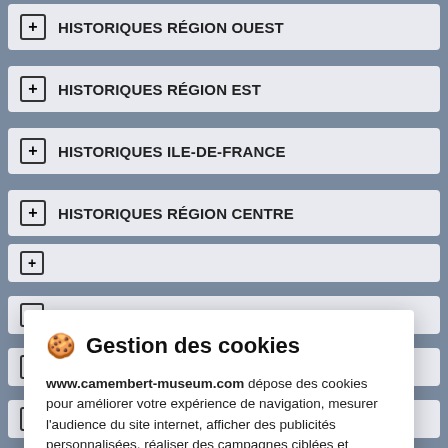HISTORIQUES RÉGION OUEST
HISTORIQUES RÉGION EST
HISTORIQUES ILE-DE-FRANCE
HISTORIQUES RÉGION CENTRE
🍪 Gestion des cookies

www.camembert-museum.com dépose des cookies pour améliorer votre expérience de navigation, mesurer l'audience du site internet, afficher des publicités personnalisées, réaliser des campagnes ciblées et personnaliser l'interface du site.

Consulter la politique de confidentialité
REFUSER | PARAMÉTRER | ACCEPTER